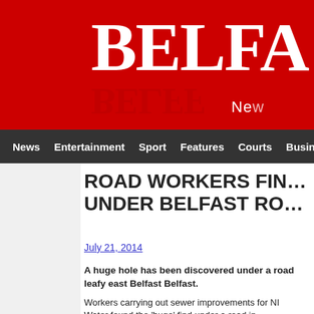[Figure (logo): Belfast News website logo — bold white 'BELFA' text on red background with reflection and 'Ne' (News) subtitle]
News | Entertainment | Sport | Features | Courts | Business | Health
ROAD WORKERS FIN… UNDER BELFAST RO…
July 21, 2014
A huge hole has been discovered under a road leafy east Belfast Belfast.
Workers carrying out sewer improvements for NI Water found the 'huge' find under a road in…